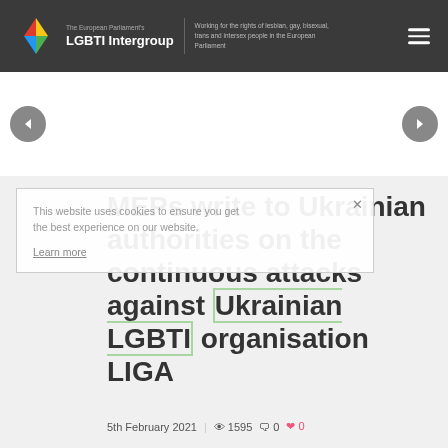The European Parliament's LGBTI Intergroup | Working for the rights of lesbian, gay, bisexual, trans and intersex people in the European Parliament
[Figure (screenshot): Website screenshot of the European Parliament LGBTI Intergroup page, showing navigation header with rainbow diamond logo, a white slider area with left/right arrow navigation buttons, a cookie consent overlay, and an article title overlay.]
This website uses cookies to ensure you get the best experience on our website.
Learn more
MEPs write to Ukrainian authorities on the continuous attacks against Ukrainian LGBTI organisation LIGA
5th February 2021 | 1595 0 0